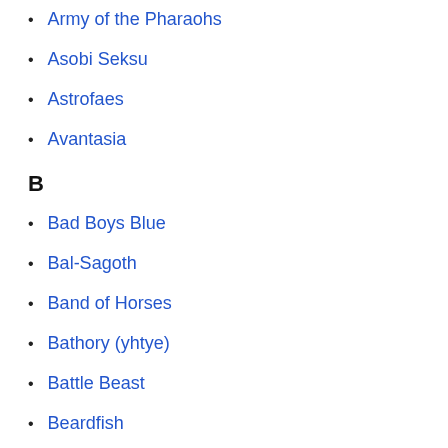Army of the Pharaohs
Asobi Seksu
Astrofaes
Avantasia
B
Bad Boys Blue
Bal-Sagoth
Band of Horses
Bathory (yhtye)
Battle Beast
Beardfish
BEAST
Beastie Boys